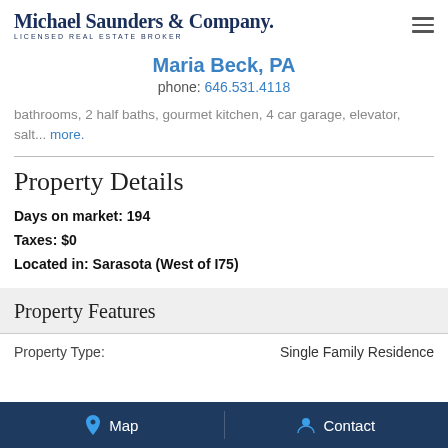Michael Saunders & Company. LICENSED REAL ESTATE BROKER
Maria Beck, PA
phone: 646.531.4118
bathrooms, 2 half baths, gourmet kitchen, 4 car garage, elevator, salt... more.
Property Details
Days on market: 194
Taxes: $0
Located in: Sarasota (West of I75)
Property Features
| Property Type: | Single Family Residence |
| --- | --- |
Map   Contact